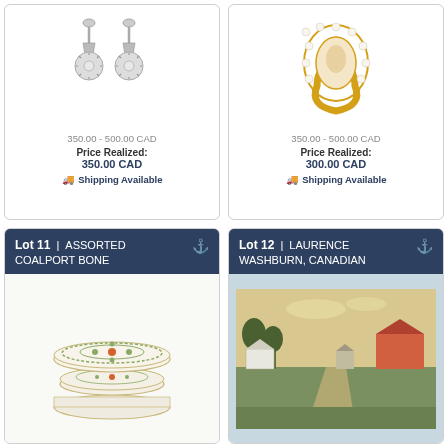[Figure (photo): Diamond drop earrings, silver/white gold with starburst drops]
350.00 - 500.00 CAD
Price Realized: 350.00 CAD
Shipping Available
[Figure (photo): Gold ring with oval cameo and pearl halo]
350.00 - 500.00 CAD
Price Realized: 300.00 CAD
Shipping Available
Lot 11 | ASSORTED COALPORT BONE
[Figure (photo): Assorted Coalport bone china plates and dishes]
Lot 12 | LAURENCE WASHBURN, CANADIAN
[Figure (photo): Laurence Washburn Canadian landscape painting showing farm buildings on a rural road]